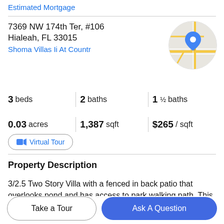Estimated Mortgage
7369 NW 174th Ter, #106
Hialeah, FL 33015
Shoma Villas Ii At Countr
[Figure (map): Circular map thumbnail with road lines and a blue location pin marker]
3 beds | 2 baths | 1 ½ baths
0.03 acres | 1,387 sqft | $265 / sqft
Virtual Tour
Property Description
3/2.5 Two Story Villa with a fenced in back patio that overlooks pond and has access to park walking path. This
schools, restaurants and parks. Easy access on S
Take a Tour
Ask A Question